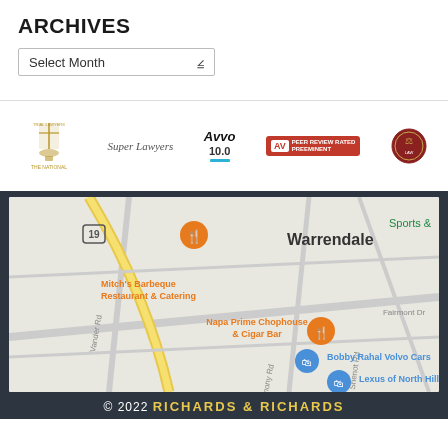ARCHIVES
Select Month
[Figure (infographic): Row of legal award logos: The National Trial Lawyers, Super Lawyers, Avvo 10.0, AV Preeminent Peer Review Rated, and a circular scales-of-justice badge]
[Figure (map): Google Maps screenshot showing Warrendale area with landmarks: Mitch's Barbeque Restaurant & Catering, Napa Prime Chophouse & Cigar Bar, Bobby Rahal Volvo Cars, Lexus of North Hills. Roads include Harmony Rd, Vander Rd, Shenot Rd. Route 19 visible.]
© 2022 RICHARDS & RICHARDS